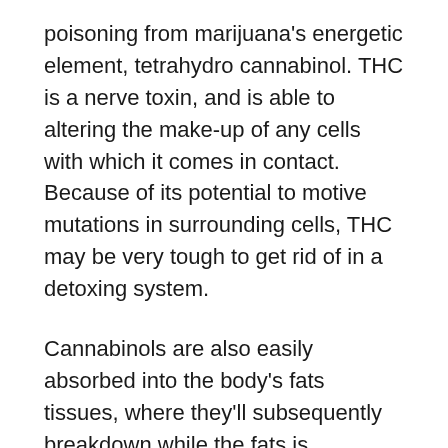poisoning from marijuana's energetic element, tetrahydro cannabinol. THC is a nerve toxin, and is able to altering the make-up of any cells with which it comes in contact. Because of its potential to motive mutations in surrounding cells, THC may be very tough to get rid of in a detoxing system.
Cannabinols are also easily absorbed into the body's fats tissues, where they'll subsequently breakdown while the fats is metabolized, leaking into the bloodstream and traveling in thc edibles the course of the body. This persevering with cannibal release is what reasons the continuing cravings for marijuana in the ones who've emerge as dependent on it, as well as their issue in maintaining awareness. THC also